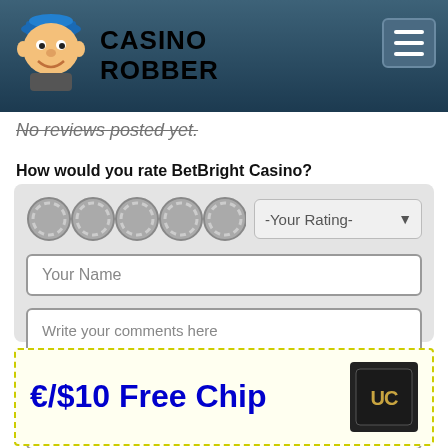CASINO ROBBER
No reviews posted yet.
How would you rate BetBright Casino?
[Figure (screenshot): Review form with 5 poker chip star icons, a -Your Rating- dropdown, a Your Name text input, a Write your comments here textarea, and a SUBMIT REVIEW button]
€/$10 Free Chip